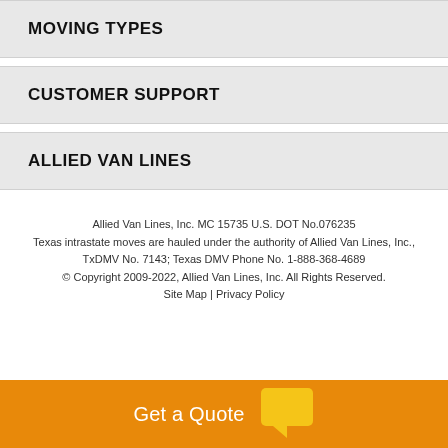MOVING TYPES
CUSTOMER SUPPORT
ALLIED VAN LINES
Allied Van Lines, Inc. MC 15735 U.S. DOT No.076235
Texas intrastate moves are hauled under the authority of Allied Van Lines, Inc., TxDMV No. 7143; Texas DMV Phone No. 1-888-368-4689
© Copyright 2009-2022, Allied Van Lines, Inc. All Rights Reserved.
Site Map | Privacy Policy
[Figure (infographic): Orange CTA bar with 'Get a Quote' text in white and a yellow speech bubble icon]